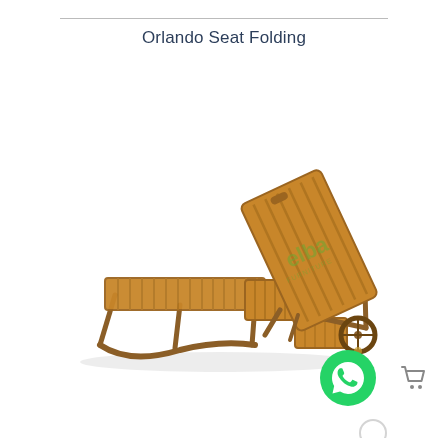Orlando Seat Folding
[Figure (photo): Wooden folding sun lounger / chaise lounge with slatted teak finish, adjustable reclined backrest, side table, and two wheels at one end. Branded with 'elba' watermark in center.]
[Figure (other): WhatsApp contact button (green circle with phone handset icon)]
[Figure (other): Shopping cart icon]